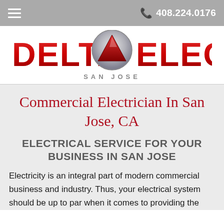408.224.0176
[Figure (logo): Delta Electric San Jose logo with metallic delta triangle badge and bold red lettering]
Commercial Electrician In San Jose, CA
ELECTRICAL SERVICE FOR YOUR BUSINESS IN SAN JOSE
Electricity is an integral part of modern commercial business and industry. Thus, your electrical system should be up to par when it comes to providing the